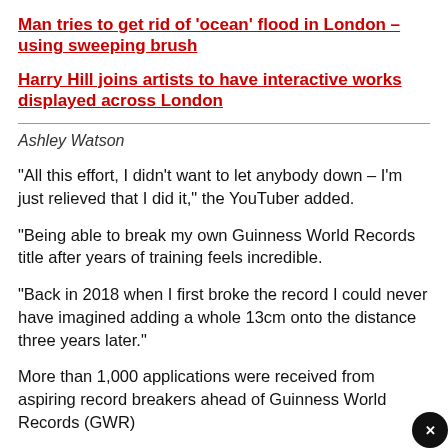Man tries to get rid of 'ocean' flood in London – using sweeping brush
Harry Hill joins artists to have interactive works displayed across London
Ashley Watson
“All this effort, I didn’t want to let anybody down – I’m just relieved that I did it,” the YouTuber added.
“Being able to break my own Guinness World Records title after years of training feels incredible.
“Back in 2018 when I first broke the record I could never have imagined adding a whole 13cm onto the distance three years later.”
More than 1,000 applications were received from aspiring record breakers ahead of Guinness World Records (GWR)